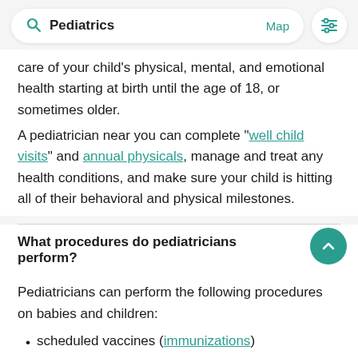Pediatrics  Map  [filter icon]
care of your child's physical, mental, and emotional health starting at birth until the age of 18, or sometimes older.
A pediatrician near you can complete "well child visits" and annual physicals, manage and treat any health conditions, and make sure your child is hitting all of their behavioral and physical milestones.
What procedures do pediatricians perform?
Pediatricians can perform the following procedures on babies and children:
scheduled vaccines (immunizations)
minor repairs for cuts, scrapes, wounds, and other